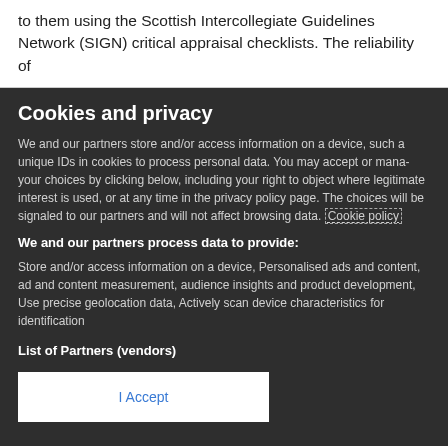to them using the Scottish Intercollegiate Guidelines Network (SIGN) critical appraisal checklists. The reliability of
Cookies and privacy
We and our partners store and/or access information on a device, such as unique IDs in cookies to process personal data. You may accept or manage your choices by clicking below, including your right to object where legitimate interest is used, or at any time in the privacy policy page. These choices will be signaled to our partners and will not affect browsing data. Cookie policy
We and our partners process data to provide:
Store and/or access information on a device, Personalised ads and content, ad and content measurement, audience insights and product development, Use precise geolocation data, Actively scan device characteristics for identification
List of Partners (vendors)
I Accept